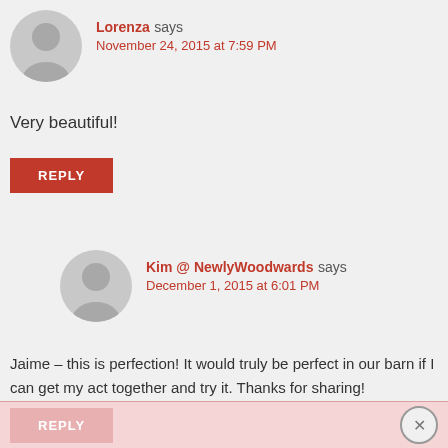[Figure (illustration): Gray circular avatar placeholder for user Lorenza]
Lorenza says
November 24, 2015 at 7:59 PM
Very beautiful!
REPLY
[Figure (illustration): Gray circular avatar placeholder for user Kim @ NewlyWoodwards]
Kim @ NewlyWoodwards says
December 1, 2015 at 6:01 PM
Jaime – this is perfection! It would truly be perfect in our barn if I can get my act together and try it. Thanks for sharing!
REPLY